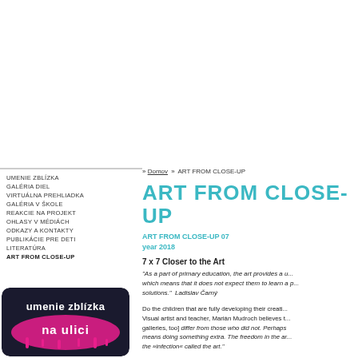» Domov » ART FROM CLOSE-UP
ART FROM CLOSE-UP
ART FROM CLOSE-UP 07
year 2018
7 x 7 Closer to the Art
"As a part of primary education, the art provides a unique approach which means that it does not expect them to learn a particular solutions." Ladislav Čarný
Do the children that are fully developing their creative... Visual artist and teacher, Marián Mudroch believes t... galleries, too] differ from those who did not. Perhaps means doing something extra. The freedom in the ar... the »infection« called the art."
UMENIE ZBLÍZKA
GALÉRIA DIEL
VIRTUÁLNA PREHLIADKA
GALÉRIA V ŠKOLE
REAKCIE NA PROJEKT
OHLASY V MÉDIÁCH
ODKAZY A KONTAKTY
PUBLIKÁCIE PRE DETI
LITERATÚRA
ART FROM CLOSE-UP
[Figure (photo): Logo image with text 'umenie zblízka na ulici' with pink graffiti-style lettering on dark background, rounded corners]